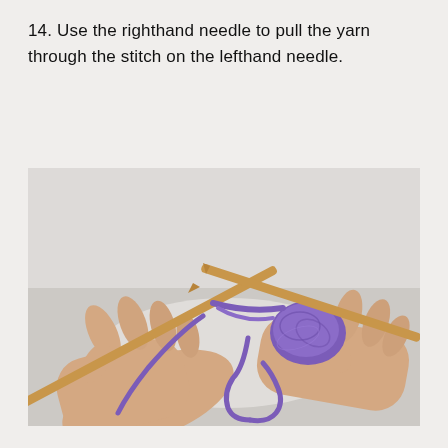14. Use the righthand needle to pull the yarn through the stitch on the lefthand needle.
[Figure (photo): Two hands holding wooden knitting needles, with purple yarn looped around the needles. The right hand holds a needle going through a stitch on the left needle, demonstrating pulling yarn through a knitting stitch. White surface background.]